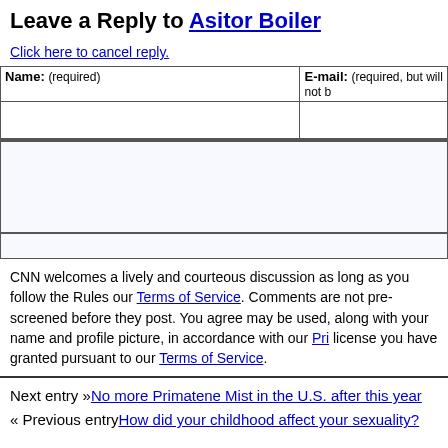Leave a Reply to Asitor Boiler
Click here to cancel reply.
| Name: (required) | E-mail: (required, but will not…) |
| --- | --- |
|  |  |
CNN welcomes a lively and courteous discussion as long as you follow the Rules our Terms of Service. Comments are not pre-screened before they post. You agree may be used, along with your name and profile picture, in accordance with our Pri license you have granted pursuant to our Terms of Service.
Next entry »No more Primatene Mist in the U.S. after this year
« Previous entryHow did your childhood affect your sexuality?